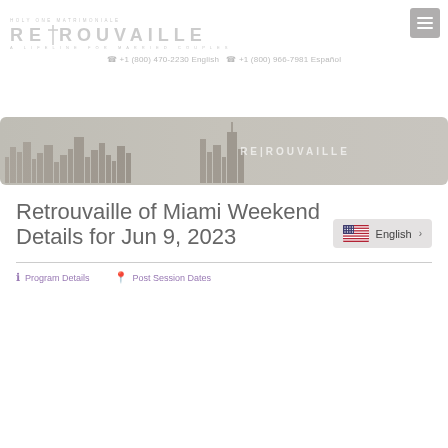[Figure (logo): Retrouvaille logo - A Lifeline for Married Couples with cross symbol, faded gray]
+1 (800) 470-2230 English  +1 (800) 966-7981 Español
[Figure (illustration): Hero banner with city skyline silhouette in muted gray/tan tones with Retrouvaille logo overlay on right]
Retrouvaille of Miami Weekend Details for Jun 9, 2023
[Figure (other): Language selector button showing US flag and English text with right arrow]
Program Details
Post Session Dates